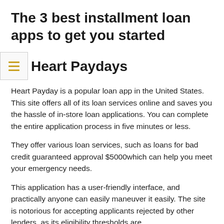The 3 best installment loan apps to get you started
Heart Paydays
Heart Payday is a popular loan app in the United States. This site offers all of its loan services online and saves you the hassle of in-store loan applications. You can complete the entire application process in five minutes or less.
They offer various loan services, such as loans for bad credit guaranteed approval $5000which can help you meet your emergency needs.
This application has a user-friendly interface, and practically anyone can easily maneuver it easily. The site is notorious for accepting applicants rejected by other lenders, as its eligibility thresholds are